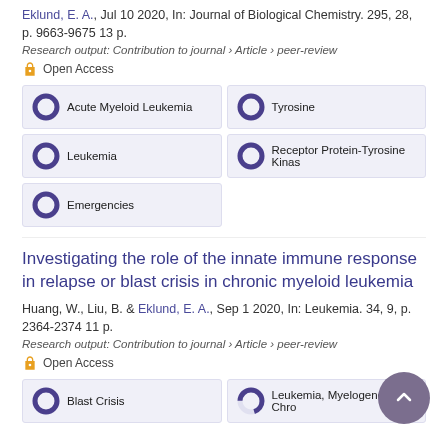Eklund, E. A., Jul 10 2020, In: Journal of Biological Chemistry. 295, 28, p. 9663-9675 13 p.
Research output: Contribution to journal › Article › peer-review
Open Access
100% Acute Myeloid Leukemia
100% Tyrosine
100% Leukemia
100% Receptor Protein-Tyrosine Kinas
100% Emergencies
Investigating the role of the innate immune response in relapse or blast crisis in chronic myeloid leukemia
Huang, W., Liu, B. & Eklund, E. A., Sep 1 2020, In: Leukemia. 34, 9, p. 2364-2374 11 p.
Research output: Contribution to journal › Article › peer-review
Open Access
100% Blast Crisis
70% Leukemia, Myelogenous, Chro